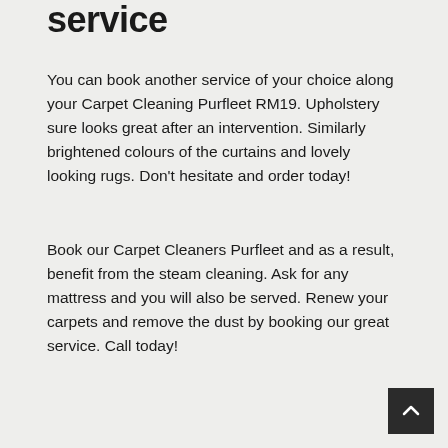service
You can book another service of your choice along your Carpet Cleaning Purfleet RM19. Upholstery sure looks great after an intervention. Similarly brightened colours of the curtains and lovely looking rugs. Don't hesitate and order today!
Book our Carpet Cleaners Purfleet and as a result, benefit from the steam cleaning. Ask for any mattress and you will also be served. Renew your carpets and remove the dust by booking our great service. Call today!